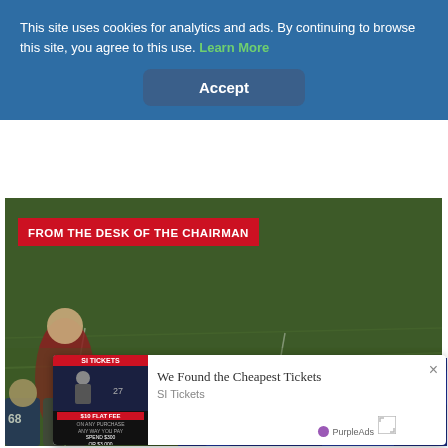This site uses cookies for analytics and ads. By continuing to browse this site, you agree to this use. Learn More
Accept
[Figure (photo): Football game photo with players on a grass field, red banner overlay reading FROM THE DESK OF THE CHAIRMAN]
FROM THE DESK OF THE CHAIRMAN
[Figure (screenshot): AdMetrics watermark overlay on dark blue background with three dots menu]
[Figure (screenshot): SI Tickets advertisement popup: We Found the Cheapest Tickets - SI Tickets, with PurpleAds branding and close button]